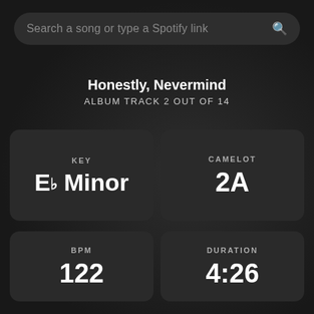Search a song or type a Spotify link
Honestly, Nevermind
ALBUM TRACK 2 OUT OF 14
| KEY | CAMELOT |
| --- | --- |
| Eb Minor | 2A |
| BPM | DURATION |
| --- | --- |
| 122 | 4:26 |